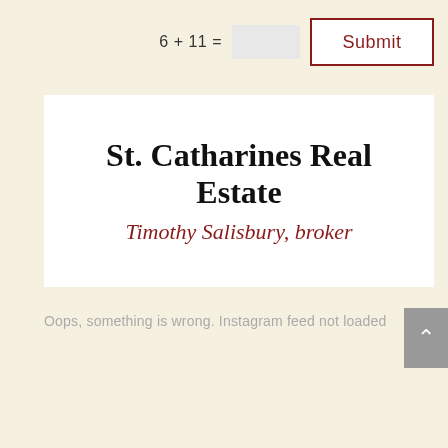6 + 11 =
Submit
St. Catharines Real Estate
Timothy Salisbury, broker
Oops, something is wrong. Instagram feed not loaded